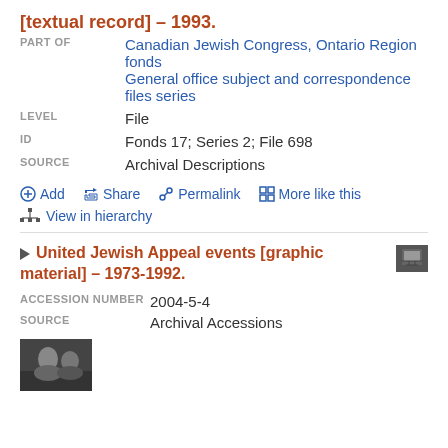[textual record] – 1993.
| Label | Value |
| --- | --- |
| PART OF | Canadian Jewish Congress, Ontario Region fonds
General office subject and correspondence files series |
| LEVEL | File |
| ID | Fonds 17; Series 2; File 698 |
| SOURCE | Archival Descriptions |
Add
Share
Permalink
More like this
View in hierarchy
United Jewish Appeal events [graphic material] – 1973-1992.
| Label | Value |
| --- | --- |
| ACCESSION NUMBER | 2004-5-4 |
| SOURCE | Archival Accessions |
[Figure (photo): Thumbnail photograph, black and white image of people]